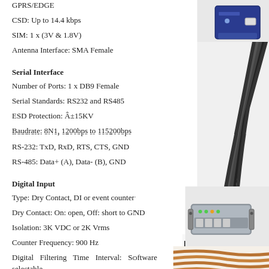GPRS/EDGE
CSD: Up to 14.4 kbps
SIM: 1 x (3V & 1.8V)
Antenna Interface: SMA Female
Serial Interface
Number of Ports: 1 x DB9 Female
Serial Standards: RS232 and RS485
ESD Protection: Â±15KV
Baudrate: 8N1, 1200bps to 115200bps
RS-232: TxD, RxD, RTS, CTS, GND
RS-485: Data+ (A), Data- (B), GND
Digital Input
Type: Dry Contact, DI or event counter
Dry Contact: On: open, Off: short to GND
Isolation: 3K VDC or 2K Vrms
Counter Frequency: 900 Hz
Digital Filtering Time Interval: Software selectable
Digital Output
[Figure (photo): Small blue network device top right corner]
[Figure (photo): Black cable bundle with connectors on right side]
[Figure (logo): MultiTech Systems logo]
[Figure (photo): Gray router/gateway device]
[Figure (photo): Copper coil or cable bundle bottom right]